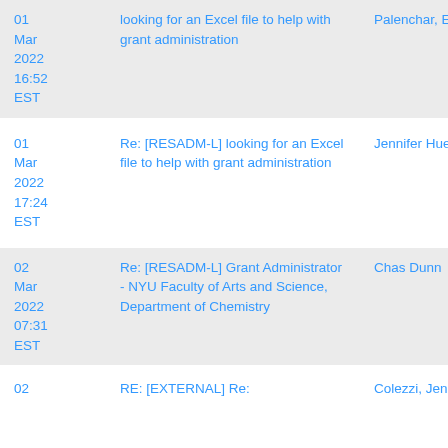| Date | Subject | Sender |
| --- | --- | --- |
| 01 Mar 2022 16:52 EST | looking for an Excel file to help with grant administration | Palenchar, Eileen |
| 01 Mar 2022 17:24 EST | Re: [RESADM-L] looking for an Excel file to help with grant administration | Jennifer Huettl |
| 02 Mar 2022 07:31 EST | Re: [RESADM-L] Grant Administrator - NYU Faculty of Arts and Science, Department of Chemistry | Chas Dunn |
| 02 | RE: [EXTERNAL] Re: | Colezzi, Jennifer C |